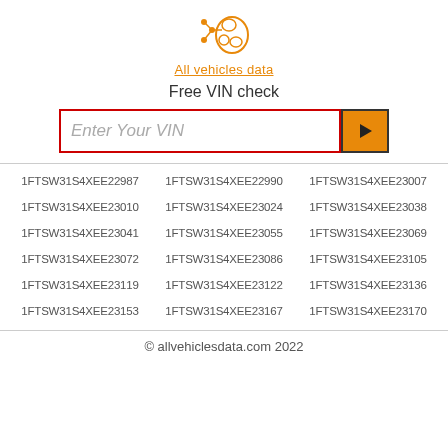[Figure (logo): All vehicles data logo: brain with network nodes icon in orange, with orange underlined text 'All vehicles data' below]
Free VIN check
Enter Your VIN
1FTSW31S4XEE22987
1FTSW31S4XEE22990
1FTSW31S4XEE23007
1FTSW31S4XEE23010
1FTSW31S4XEE23024
1FTSW31S4XEE23038
1FTSW31S4XEE23041
1FTSW31S4XEE23055
1FTSW31S4XEE23069
1FTSW31S4XEE23072
1FTSW31S4XEE23086
1FTSW31S4XEE23105
1FTSW31S4XEE23119
1FTSW31S4XEE23122
1FTSW31S4XEE23136
1FTSW31S4XEE23153
1FTSW31S4XEE23167
1FTSW31S4XEE23170
© allvehiclesdata.com 2022